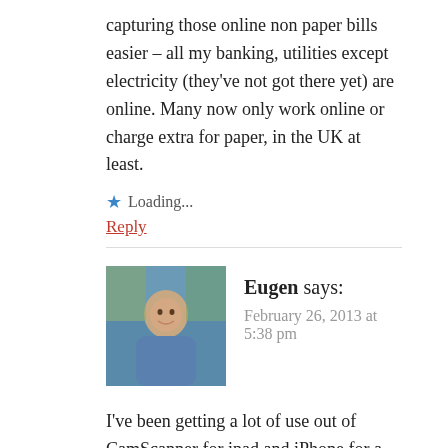capturing those online non paper bills easier – all my banking, utilities except electricity (they've not got there yet) are online. Many now only work online or charge extra for paper, in the UK at least.
★ Loading...
Reply
Eugen says:
February 26, 2013 at 5:38 pm
I've been getting a lot of use out of CamScanner for ipad and iPhone for a mobile scanner alternative to a scanner. It publishes direct to Evernote and has some great tools for cropping